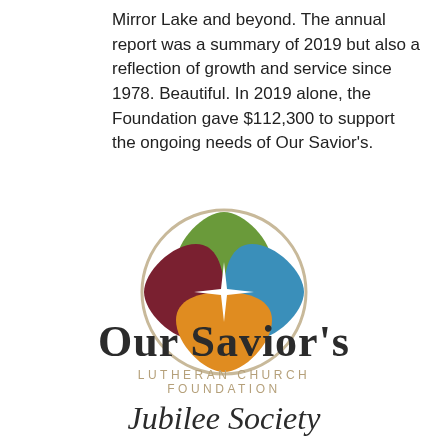Mirror Lake and beyond. The annual report was a summary of 2019 but also a reflection of growth and service since 1978. Beautiful. In 2019 alone, the Foundation gave $112,300 to support the ongoing needs of Our Savior's.
[Figure (logo): Our Savior's Lutheran Church Foundation logo: four leaf/petal shapes in green, dark red/maroon, blue, and orange arranged in a diamond/quatrefoil pattern with a white star/cross in the center, surrounded by a circular tan outline.]
[Figure (logo): Our Savior's Lutheran Church Foundation Jubilee Society wordmark: 'Our Savior's' in large serif bold, 'Lutheran Church Foundation' in small spaced caps tan/gold, 'Jubilee Society' in cursive script.]